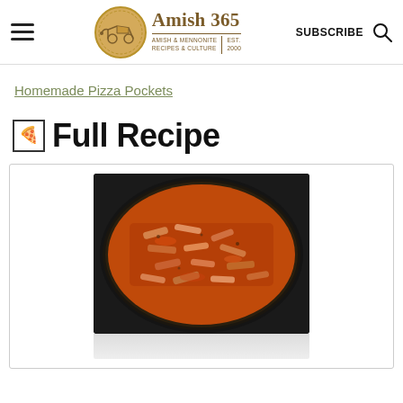Amish 365 — AMISH & MENNONITE RECIPES & CULTURE | EST. 2000 | SUBSCRIBE
Homemade Pizza Pockets
🍕 Full Recipe
[Figure (photo): A cast iron skillet filled with saucy pasta or pizza filling, tomato sauce visible, viewed from above. Partially cut off at bottom.]